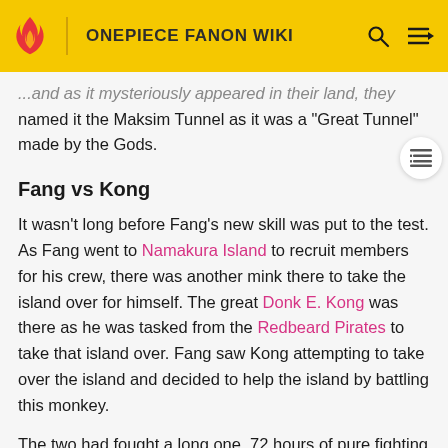ONEPIECE FANON WIKI
...and as it mysteriously appeared in their land, they named it the Maksim Tunnel as it was a "Great Tunnel" made by the Gods.
Fang vs Kong
It wasn't long before Fang's new skill was put to the test. As Fang went to Namakura Island to recruit members for his crew, there was another mink there to take the island over for himself. The great Donk E. Kong was there as he was tasked from the Redbeard Pirates to take that island over. Fang saw Kong attempting to take over the island and decided to help the island by battling this monkey.
The two had fought a long one, 72 hours of pure fighting from one another. With the last night having a full moon